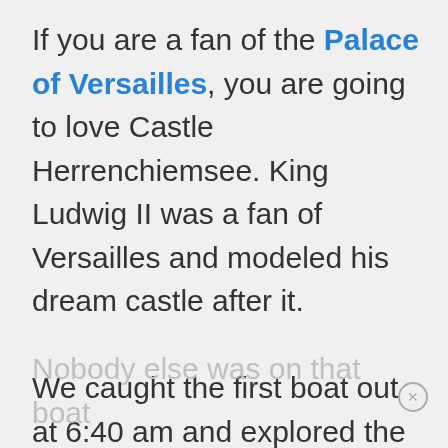If you are a fan of the Palace of Versailles, you are going to love Castle Herrenchiemsee. King Ludwig II was a fan of Versailles and modeled his dream castle after it.

We caught the first boat out at 6:40 am and explored the grounds in complete privacy.

Nobody else was on that boat